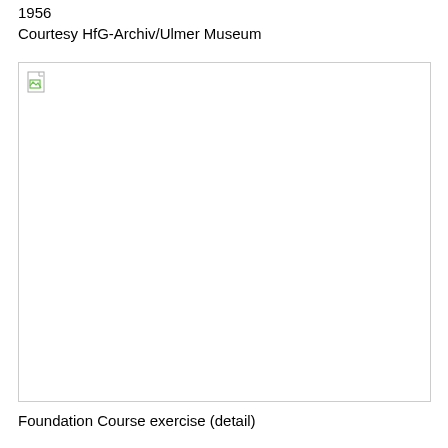1956
Courtesy HfG-Archiv/Ulmer Museum
[Figure (photo): Broken/missing image placeholder with a small broken image icon in the top-left corner, bordered by a thin gray rectangle]
Foundation Course exercise (detail)